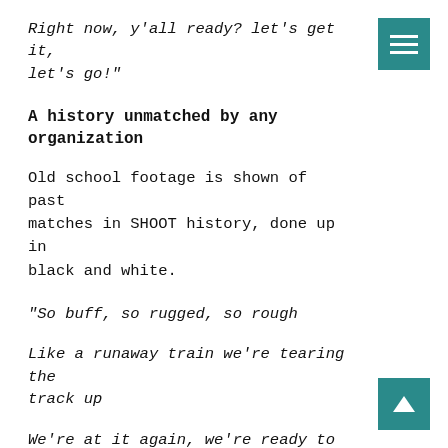Right now, y'all ready? let's get it, let's go!"
[Figure (other): Teal/dark cyan hamburger menu button icon in top-right corner]
A history unmatched by any organization
Old school footage is shown of past matches in SHOOT history, done up in black and white.
“So buff, so rugged, so rough
Like a runaway train we’re tearing the track up
We’re at it again, we’re ready to act up
[Figure (other): Teal/dark cyan back-to-top arrow button icon in bottom-right corner]